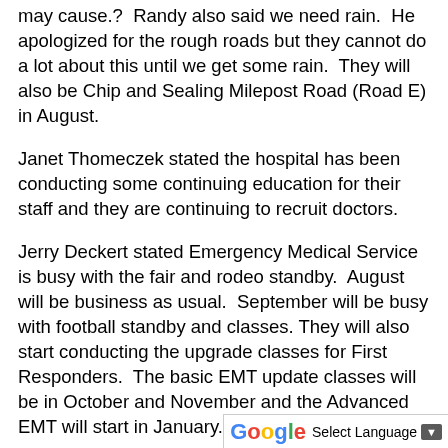may cause.?  Randy also said we need rain.  He apologized for the rough roads but they cannot do a lot about this until we get some rain.  They will also be Chip and Sealing Milepost Road (Road E) in August.
Janet Thomeczek stated the hospital has been conducting some continuing education for their staff and they are continuing to recruit doctors.
Jerry Deckert stated Emergency Medical Service is busy with the fair and rodeo standby.  August will be business as usual.  September will be busy with football standby and classes. They will also start conducting the upgrade classes for First Responders.  The basic EMT update classes will be in October and November and the Advanced EMT will start in January.
Jerry Deckert requested an ICS 300 held in Ulysses in October or November...